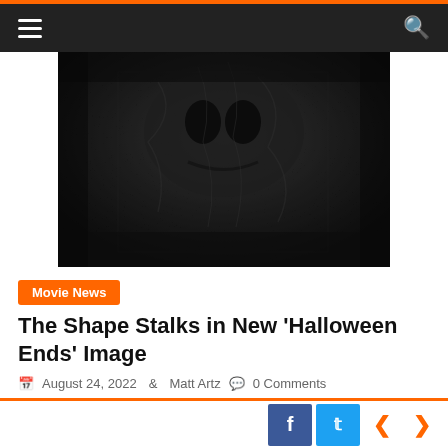[Figure (photo): Dark, moody close-up image of a textured surface resembling a mask or fabric, extremely dark overall with barely visible contours — promotional image for Halloween Ends movie.]
Movie News
The Shape Stalks in New 'Halloween Ends' Image
August 24, 2022  Matt Artz  0 Comments
Halloween Ends will begin streaming on Peacock on the same day it is released in theaters, as we learned yesterday,